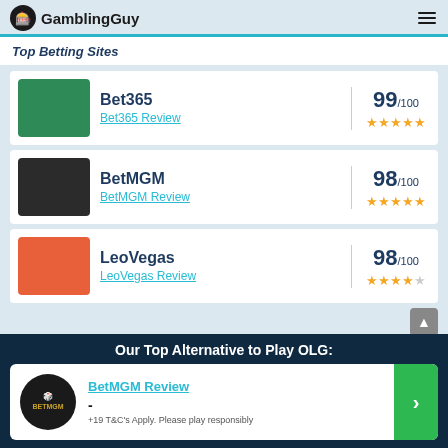GamblingGuy
Top Betting Sites
Bet365 | Bet365 Review | 99/100 ★★★★★
BetMGM | BetMGM Review | 98/100 ★★★★★
LeoVegas | LeoVegas Review | 98/100 ★★★★☆
Our Top Alternative to Play OLG:
BetMGM Review
-
+19 T&C's Apply. Please play responsibly